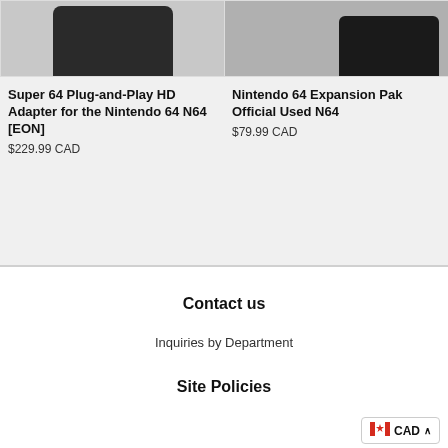[Figure (photo): Product image of Super 64 Plug-and-Play HD Adapter for Nintendo 64 N64 [EON] - dark device shown from above]
[Figure (photo): Product image of Nintendo 64 Expansion Pak Official Used N64 - dark device shown from side]
Super 64 Plug-and-Play HD Adapter for the Nintendo 64 N64 [EON]
$229.99 CAD
Nintendo 64 Expansion Pak Official Used N64
$79.99 CAD
Contact us
Inquiries by Department
Site Policies